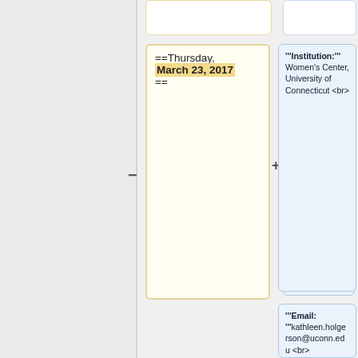==Thursday, March 23, 2017 ==
'''Institution:''' Women's Center, University of Connecticut <br>
'''Email: '''kathleen.holgerson@uconn.edu <br>
'''Web site: '''https://womenscenter.uconn.edu/<br>
'''Google Scholar:  '''<br>
'''Seminar Title: '''<i>STEMInist in Academi...